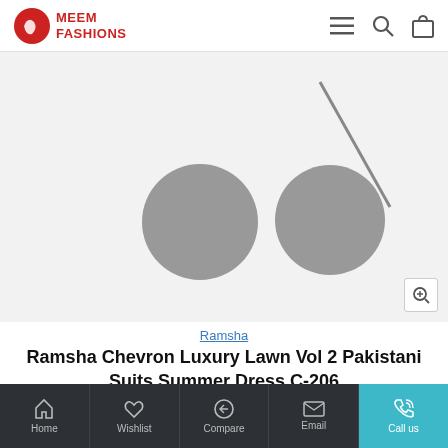MEEM FASHIONS
[Figure (photo): Product image area showing a partially visible fashion garment - broken image placeholder with two grey circles and a diagonal line visible on light grey background]
Ramsha
Ramsha Chevron Luxury Lawn Vol 2 Pakistani Suits Summer Dress C-206
$185.0
Home  Wishlist  Compare  Email  Call us